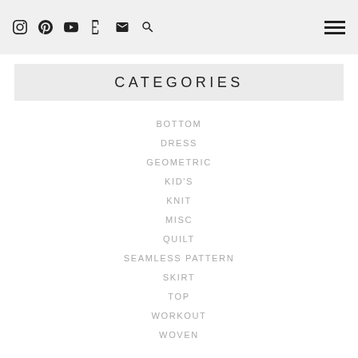Instagram Pinterest YouTube Etsy Email Search
CATEGORIES
BOTTOM
DRESS
GEOMETRIC
KID'S
KNIT
MISC
QUILT
SEAMLESS PATTERN
SKIRT
TOP
WORKOUT
WOVEN